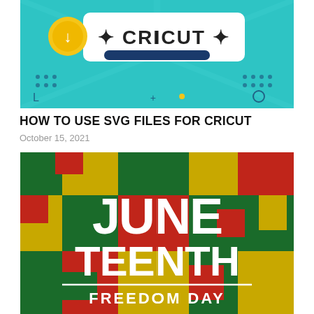[Figure (illustration): Cricut design app interface illustration with teal background, showing a chat bubble with CRICUT text, a gold coin with a download arrow, and a dark blue bar, with decorative geometric elements]
HOW TO USE SVG FILES FOR CRICUT
October 15, 2021
[Figure (illustration): Juneteenth Freedom Day graphic with bold white text on a colorful mosaic/patchwork background in red, green, and gold/yellow colors. Text reads JUNETEENTH FREEDOM DAY with a horizontal white line separator.]